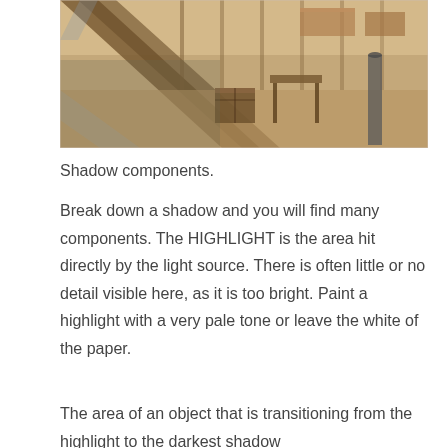[Figure (illustration): A pastel or pencil drawing of an interior scene of a wooden barn or mill with diagonal beams, crates, furniture, and a pipe, rendered in warm sepia and grey tones.]
Shadow components.
Break down a shadow and you will find many components. The HIGHLIGHT is the area hit directly by the light source. There is often little or no detail visible here, as it is too bright. Paint a highlight with a very pale tone or leave the white of the paper.
The area of an object that is transitioning from the highlight to the darkest shadow